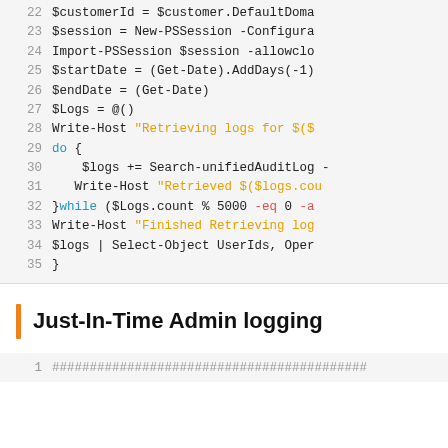[Figure (screenshot): PowerShell code block showing lines 22–35 with syntax highlighting: line numbers in gray, string literals in orange, keywords in blue, operators in red]
Just-In-Time Admin logging
[Figure (screenshot): PowerShell code block showing line 1 with comment hash characters in gray]